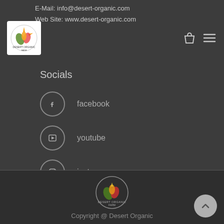E-Mail: info@desert-organic.com
Web Site: www.desert-organic.com
[Figure (logo): Desert Organic Farm logo - circular badge with colorful fruits/plants on white square background]
Socials
facebook
youtube
instagram
[Figure (logo): Desert Organic Farm circular logo in footer area]
Copyright @ Desert Organic